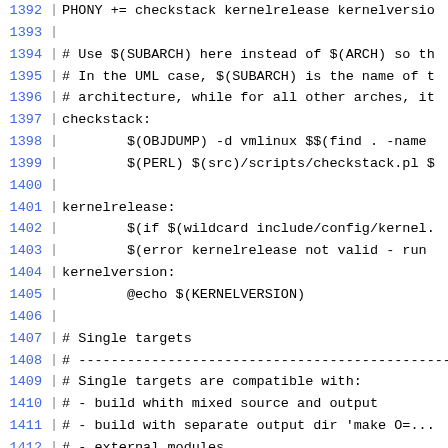Source code / Makefile lines 1392-1421
1392  PHONY += checkstack kernelrelease kernelversio...
1394  # Use $(SUBARCH) here instead of $(ARCH) so th...
1395  # In the UML case, $(SUBARCH) is the name of t...
1396  # architecture, while for all other arches, it...
1397  checkstack:
1398          $(OBJDUMP) -d vmlinux $$(find . -name...
1399          $(PERL) $(src)/scripts/checkstack.pl $...
1401  kernelrelease:
1402          $(if $(wildcard include/config/kernel....
1403          $(error kernelrelease not valid - run...
1404  kernelversion:
1405          @echo $(KERNELVERSION)
1407  # Single targets
1408  # -----------------------------------------------...
1409  # Single targets are compatible with:
1410  # - build whith mixed source and output
1411  # - build with separate output dir 'make O=...
1412  # - external modules
1413  #
1414  #  target-dir => where to store outputfile
1415  #  build-dir  => directory in kernel source tr...
1417  ifeq ($(KBUILD_EXTMOD),)
1418          build-dir  = $(patsubst %/,%,$(dir $@)...
1419          target-dir = $(dir $@)
1420  else
1421          zap-slash=$(filter-out ..$(patsubst %...